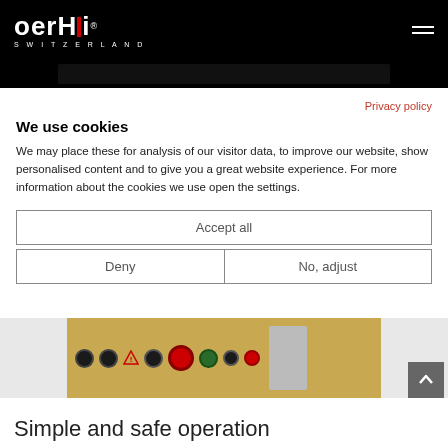oerHi SWITZERLAND
[Figure (screenshot): Partial black banner visible at top, part of website header image]
Privacy policy
We use cookies
We may place these for analysis of our visitor data, to improve our website, show personalised content and to give you a great website experience. For more information about the cookies we use open the settings.
Accept all
Deny
No, adjust
[Figure (photo): Close-up of a yellow/beige medical or scientific device panel with various connectors, dials, and warning symbols]
Simple and safe operation